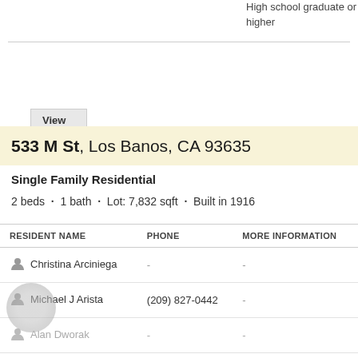High school graduate or higher
View details »
533 M St, Los Banos, CA 93635
Single Family Residential
2 beds · 1 bath · Lot: 7,832 sqft · Built in 1916
| RESIDENT NAME | PHONE | MORE INFORMATION |
| --- | --- | --- |
| Christina Arciniega | - | - |
| Michael J Arista | (209) 827-0442 | - |
| Alan Dworak | - | - |
| Jim D Horan | (209) 827-1228 | - |